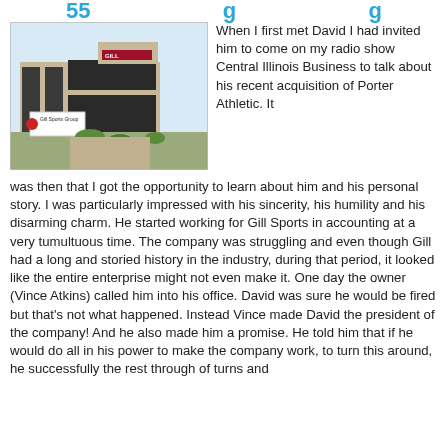55   g   g
[Figure (photo): Exterior photo of Gill Sports Group building, a modern tan/beige commercial building with large windows and a sign reading 'Gill Sports Group' in front]
When I first met David I had invited him to come on my radio show Central Illinois Business to talk about his recent acquisition of Porter Athletic. It was then that I got the opportunity to learn about him and his personal story. I was particularly impressed with his sincerity, his humility and his disarming charm. He started working for Gill Sports in accounting at a very tumultuous time. The company was struggling and even though Gill had a long and storied history in the industry, during that period, it looked like the entire enterprise might not even make it. One day the owner (Vince Atkins) called him into his office. David was sure he would be fired but that's not what happened. Instead Vince made David the president of the company! And he also made him a promise. He told him that if he would do all in his power to make the company work, to turn this around, he successfully the rest through of turns and